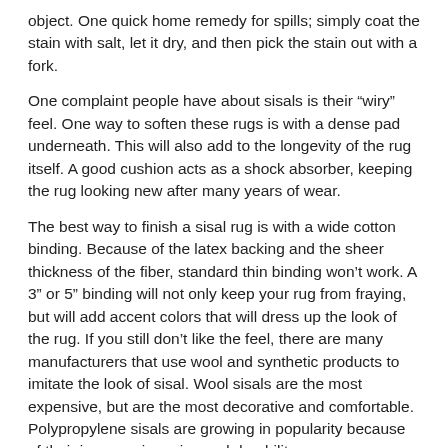object. One quick home remedy for spills; simply coat the stain with salt, let it dry, and then pick the stain out with a fork.
One complaint people have about sisals is their “wiry” feel. One way to soften these rugs is with a dense pad underneath. This will also add to the longevity of the rug itself. A good cushion acts as a shock absorber, keeping the rug looking new after many years of wear.
The best way to finish a sisal rug is with a wide cotton binding. Because of the latex backing and the sheer thickness of the fiber, standard thin binding won’t work. A 3” or 5” binding will not only keep your rug from fraying, but will add accent colors that will dress up the look of the rug. If you still don’t like the feel, there are many manufacturers that use wool and synthetic products to imitate the look of sisal. Wool sisals are the most expensive, but are the most decorative and comfortable. Polypropylene sisals are growing in popularity because of their inexpensive price and durability.
When you choose a sustainable area rug, you are not simply buying a home accessory. You are making a meaningful statement about what you believe in. You are helping to create a world where quality, beauty, and a sustainable way of life are essential. We have a wide selection of sisal area rugs at inexpensive everyday...